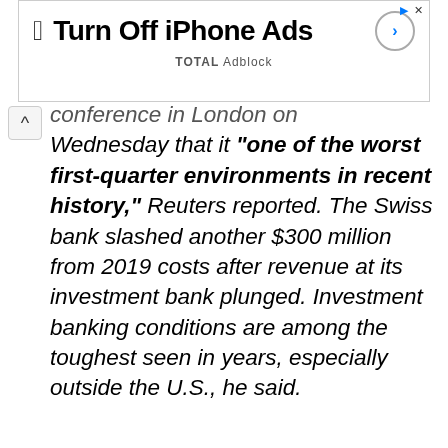[Figure (screenshot): Advertisement banner for 'Turn Off iPhone Ads' by TOTAL Adblock, showing Apple logo, ad title text, and a circular arrow button]
conference in London on Wednesday that it "one of the worst first-quarter environments in recent history," Reuters reported. The Swiss bank slashed another $300 million from 2019 costs after revenue at its investment bank plunged. Investment banking conditions are among the toughest seen in years, especially outside the U.S., he said.